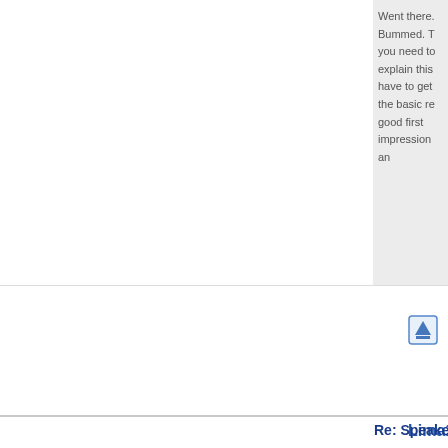Went there. Bummed. T... you need to explain this... have to get the basic re... good first impression an...
[Figure (other): Blue upward arrow icon button (scroll to top)]
Lima17
Re: Speakeasy Loung...
Home away from home
[Figure (other): User avatar placeholder with question mark]
| Joined: | 2012/6/14 13:36 |
| Last Login : | 2017/12/28 0:40 |
| Group: | Registered Users |
| Posts: | 415 |
Quote:
Maise wrote:
-I also no
this leads
as a fan o
walk throu
logistical
If I recall correctly the entrance as well.